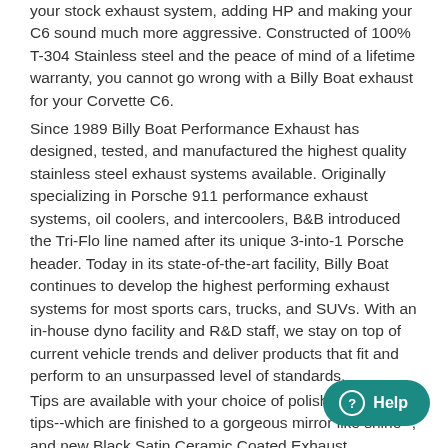your stock exhaust system, adding HP and making your C6 sound much more aggressive. Constructed of 100% T-304 Stainless steel and the peace of mind of a lifetime warranty, you cannot go wrong with a Billy Boat exhaust for your Corvette C6.
Since 1989 Billy Boat Performance Exhaust has designed, tested, and manufactured the highest quality stainless steel exhaust systems available. Originally specializing in Porsche 911 performance exhaust systems, oil coolers, and intercoolers, B&B introduced the Tri-Flo line named after its unique 3-into-1 Porsche header. Today in its state-of-the-art facility, Billy Boat continues to develop the highest performing exhaust systems for most sports cars, trucks, and SUVs. With an in-house dyno facility and R&D staff, we stay on top of current vehicle trends and deliver products that fit and perform to an unsurpassed level of standards.
Tips are available with your choice of polished Steel tips--which are finished to a gorgeous mirror like shine--, and new Black Satin Ceramic Coated Exhaust